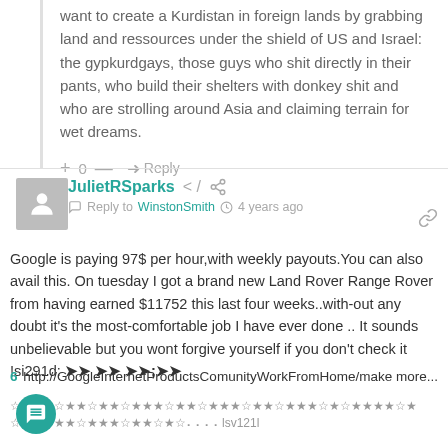want to create a Kurdistan in foreign lands by grabbing land and ressources under the shield of US and Israel: the gypkurdgays, those guys who shit directly in their pants, who build their shelters with donkey shit and who are strolling around Asia and claiming terrain for wet dreams.
+ 0 — → Reply
JulietRSparks
Reply to WinstonSmith  4 years ago
Google is paying 97$ per hour,with weekly payouts.You can also avail this. On tuesday I got a brand new Land Rover Range Rover from having earned $11752 this last four weeks..with-out any doubt it's the most-comfortable job I have ever done .. It sounds unbelievable but you wont forgive yourself if you don't check it !si291d: ➤➤ ➤➤;➤➤ 6 http://GoogleInternetProductsComunityWorkFromHome/make more...
☆★★★☆★★☆★★☆★★★☆★★☆★★★☆★★☆★★★☆★☆★★★★☆★ ☆★★☆★★☆★★★☆★★☆★☆⠄⠄⠄⠄lsv121l